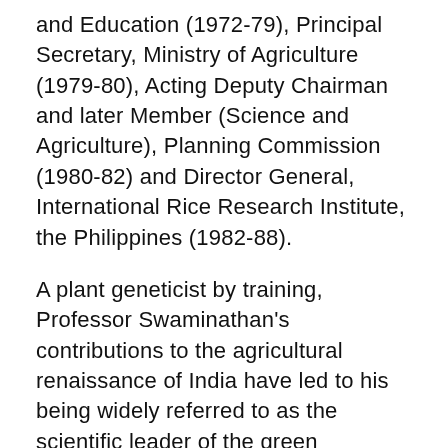and Education (1972-79), Principal Secretary, Ministry of Agriculture (1979-80), Acting Deputy Chairman and later Member (Science and Agriculture), Planning Commission (1980-82) and Director General, International Rice Research Institute, the Philippines (1982-88).
A plant geneticist by training, Professor Swaminathan's contributions to the agricultural renaissance of India have led to his being widely referred to as the scientific leader of the green revolution movement. His advocacy of sustainable agriculture leading to an ever-green revolution makes him an acknowledged world leader in the field